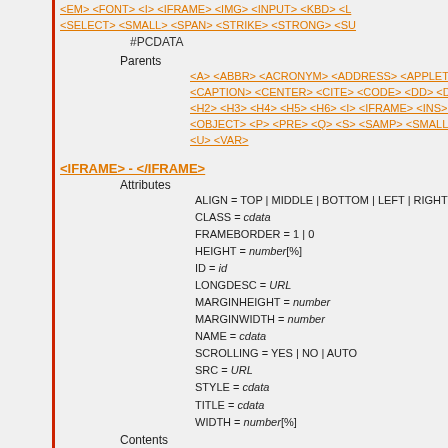<EM> <FONT> <I> <IFRAME> <IMG> <INPUT> <KBD> <L <SELECT> <SMALL> <SPAN> <STRIKE> <STRONG> <SU #PCDATA
Parents
<A> <ABBR> <ACRONYM> <ADDRESS> <APPLET> <B> <CAPTION> <CENTER> <CITE> <CODE> <DD> <DEL> <D <H2> <H3> <H4> <H5> <H6> <I> <IFRAME> <INS> <KBD> <OBJECT> <P> <PRE> <Q> <S> <SAMP> <SMALL> <SPA <U> <VAR>
<IFRAME> - </IFRAME>
Attributes
ALIGN = TOP | MIDDLE | BOTTOM | LEFT | RIGHT
CLASS = cdata
FRAMEBORDER = 1 | 0
HEIGHT = number[%]
ID = id
LONGDESC = URL
MARGINHEIGHT = number
MARGINWIDTH = number
NAME = cdata
SCROLLING = YES | NO | AUTO
SRC = URL
STYLE = cdata
TITLE = cdata
WIDTH = number[%]
Contents
<A> <ABBR> <ACRONYM> <ADDRESS> <APPLET> <B> <BUTTON> <CENTER> <CITE> <CODE> <DFN> <DIR> <D <H3> <H4> <H5> <H6> <HR> <I> <IFRAME> <IMG> <INPU <NOFRAMES> <NOSCRIPT> <OBJECT> <OL> <P> <PRE <STRIKE> <STRONG> <SUB> <SUP> <TABLE> <TEXTAR